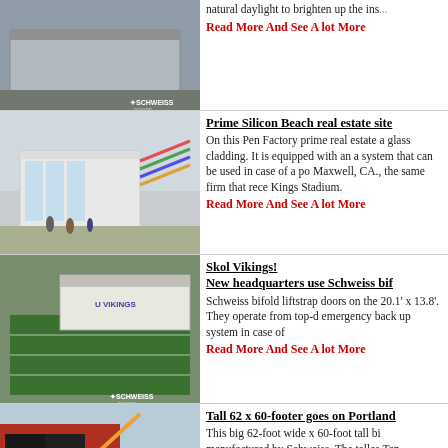[Figure (photo): Exterior photo of hangar/building with Schweiss logo]
The door is equipped with a manual... natural daylight to brighten up the inside.
Read More And See A lot More
[Figure (photo): Architectural rendering of Silicon Beach Pen Factory with glass cladding]
Prime Silicon Beach real estate site
On this Pen Factory prime real estate a glass cladding. It is equipped with an a system that can be used in case of a po Maxwell, CA., the same firm that rece Kings Stadium.
Read More And See A lot More
[Figure (photo): Aerial view of Vikings headquarters with football field]
Skol Vikings! New headquarters use Schweiss bif
Schweiss bifold liftstrap doors on the 20.1' x 13.8'. They operate from top-d emergency back up system in case of
Read More And See A lot More
[Figure (photo): Large red bifold door being installed on building with crane]
Tall 62 x 60-footer goes on Portland
This big 62-foot wide x 60-foot tall bi manufactured by Schweiss. The talles Ten windows on the door bring in nat
Read More And See A lot More